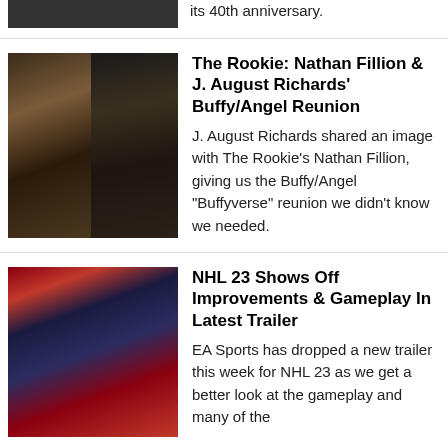its 40th anniversary.
The Rookie: Nathan Fillion & J. August Richards' Buffy/Angel Reunion
J. August Richards shared an image with The Rookie's Nathan Fillion, giving us the Buffy/Angel "Buffyverse" reunion we didn't know we needed.
NHL 23 Shows Off Improvements & Gameplay In Latest Trailer
EA Sports has dropped a new trailer this week for NHL 23 as we get a better look at the gameplay and many of the